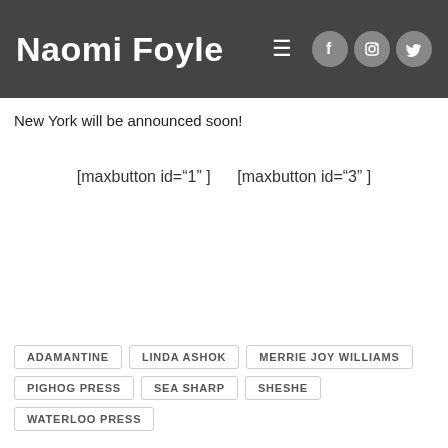Naomi Foyle
New York will be announced soon!
[maxbutton id="1" ]      [maxbutton id="3" ]
ADAMANTINE
LINDA ASHOK
MERRIE JOY WILLIAMS
PIGHOG PRESS
SEA SHARP
SHESHE
WATERLOO PRESS